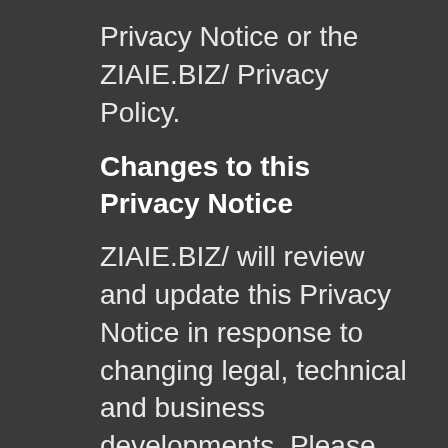Privacy Notice or the ZIAIE.BIZ/ Privacy Policy.
Changes to this Privacy Notice
ZIAIE.BIZ/ will review and update this Privacy Notice in response to changing legal, technical and business developments. Please review this Privacy Notice frequently to understand how ZIAIE.BIZ/ is protecting Your Personal Data.
Data Protection Officer
ZIAIE.BIZ/ has appointed a Data Protection Officer to ensure continued commitment to privacy